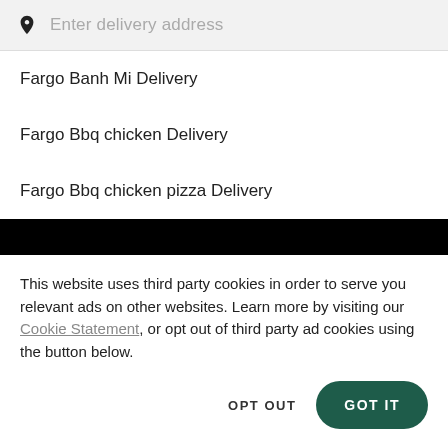Enter delivery address
Fargo Banh Mi Delivery
Fargo Bbq chicken Delivery
Fargo Bbq chicken pizza Delivery
This website uses third party cookies in order to serve you relevant ads on other websites. Learn more by visiting our Cookie Statement, or opt out of third party ad cookies using the button below.
OPT OUT
GOT IT